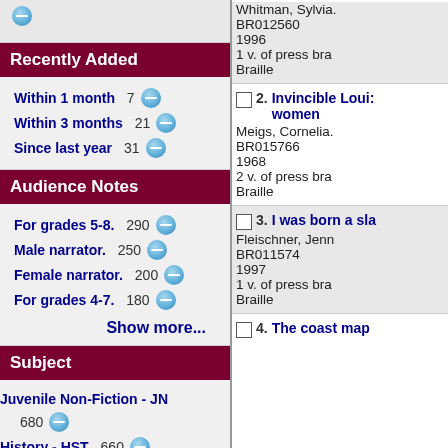Recently Added
Within 1 month 7
Within 3 months 21
Since last year 31
Audience Notes
For grades 5-8. 290
Male narrator. 250
Female narrator. 200
For grades 4-7. 180
Show more...
Subject
Juvenile Non-Fiction - JN 680
History - HST 660
Short Book - SH 460
1. Whitman, Sylvia. BR012560 1996 1 v. of press bra Braille
2. Invincible Louis: women. Meigs, Cornelia. BR015766 1968 2 v. of press bra Braille
3. I was born a sla Fleischner, Jenn BR011574 1997 1 v. of press bra Braille
4. The coast map